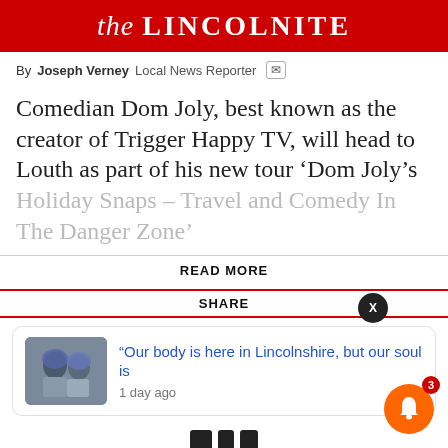the LINCOLNITE
By Joseph Verney  Local News Reporter
Comedian Dom Joly, best known as the creator of Trigger Happy TV, will head to Louth as part of his new tour ‘Dom Joly’s Holiday Snaps – Travel and Comedy In The Danger Zone’
READ MORE
SHARE
“Our body is here in Lincolnshire, but our soul is
1 day ago